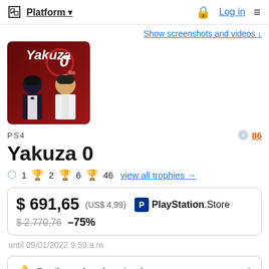Platform ▾   🔒 Log in  ≡
Show screenshots and videos ↓
[Figure (photo): Yakuza 0 game cover art showing two characters on a red background with the Yakuza 0 logo]
PS4
86
Yakuza 0
🥈 1  🏆 2  🥄 6  🥉 46  view all trophies →
$ 691,65  (US$ 4,99)  🛍 PlayStation Store
$ 2.770,76  –75%
until 09/01/2022 9:59 a.m.
🔔 Email me when the price drops   2